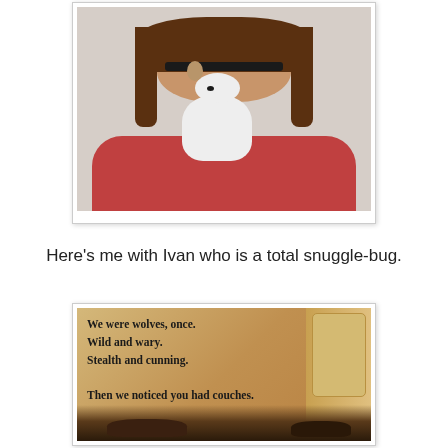[Figure (photo): A woman with brown hair and glasses wearing a red top, holding a small white and black dog (Ivan) up close to her chest, photographed against a light textured background. The photo has a white border/frame around it.]
Here's me with Ivan who is a total snuggle-bug.
[Figure (photo): A photo showing a beige/tan background (like a couch) with bold text that reads: 'We were wolves, once. Wild and wary. Stealth and cunning. Then we noticed you had couches.' At the bottom of the image, dark silhouettes of dogs lounging are visible.]